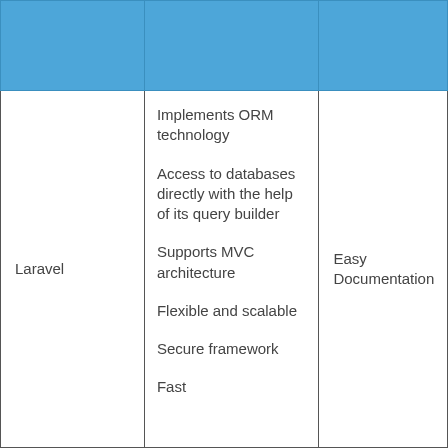|  |  |  |
| --- | --- | --- |
| Laravel | Implements ORM technology
Access to databases directly with the help of its query builder
Supports MVC architecture
Flexible and scalable
Secure framework
Fast | Easy Documentation |